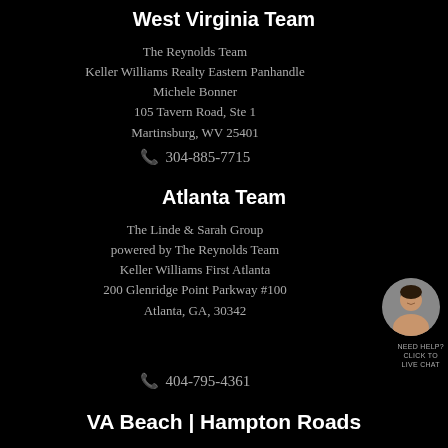West Virginia Team
The Reynolds Team
Keller Williams Realty Eastern Panhandle
Michele Bonner
105 Tavern Road, Ste 1
Martinsburg, WV 25401
📞 304-885-7715
Atlanta Team
The Linde & Sarah Group
powered by The Reynolds Team
Keller Williams First Atlanta
200 Glenridge Point Parkway #100
Atlanta, GA, 30342
[Figure (photo): Circular headshot photo of a woman smiling, placed to the right side of the Atlanta Team section]
NEED HELP? CLICK TO LIVE CHAT
📞 404-795-4361
VA Beach | Hampton Roads